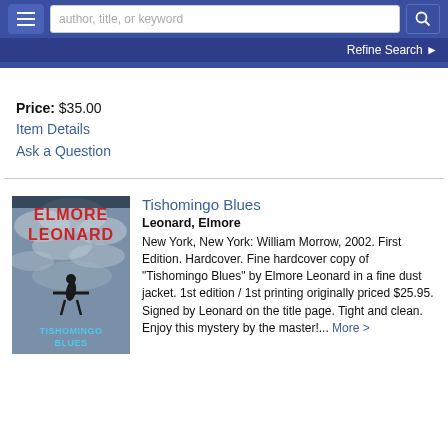author, title, or keyword | Refine Search
Price: $35.00
Item Details
Ask a Question
Tishomingo Blues
Leonard, Elmore
New York, New York: William Morrow, 2002. First Edition. Hardcover. Fine hardcover copy of "Tishomingo Blues" by Elmore Leonard in a fine dust jacket. 1st edition / 1st printing originally priced $25.95. Signed by Leonard on the title page. Tight and clean. Enjoy this mystery by the master!... More >
[Figure (illustration): Book cover of 'Tishomingo Blues' by Elmore Leonard showing a diver against a cloudy sky. Red text 'ELMORE LEONARD' at top, blue text 'TISHOMINGO BLUES' in middle, dark silhouette of a diving figure.]